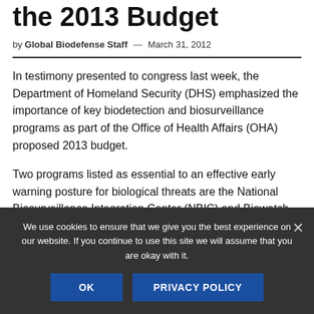the 2013 Budget
by Global Biodefense Staff — March 31, 2012
In testimony presented to congress last week, the Department of Homeland Security (DHS) emphasized the importance of key biodetection and biosurveillance programs as part of the Office of Health Affairs (OHA) proposed 2013 budget.
Two programs listed as essential to an effective early warning posture for biological threats are the National Biosurveillance Integration Center (NBIC) and Biowatch.
We use cookies to ensure that we give you the best experience on our website. If you continue to use this site we will assume that you are okay with it.